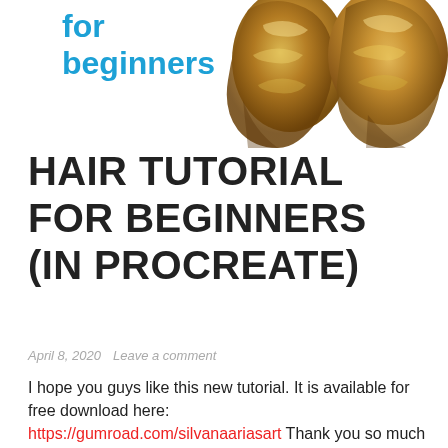[Figure (illustration): Partial header image showing 'for beginners' text in blue and two golden hair illustrations on the right side, cropped at the top of the page.]
HAIR TUTORIAL FOR BEGINNERS (IN PROCREATE)
April 8, 2020   Leave a comment
I hope you guys like this new tutorial. It is available for free download here: https://gumroad.com/silvanaariasart Thank you so much for watching!! XOXO http://www.youtube.com/watch?v=rK4jwsq_uSI